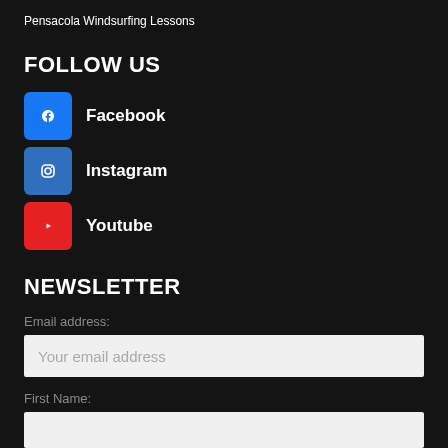Pensacola Windsurfing Lessons
FOLLOW US
Facebook
Instagram
Youtube
NEWSLETTER
Email address:
Your email address
First Name: